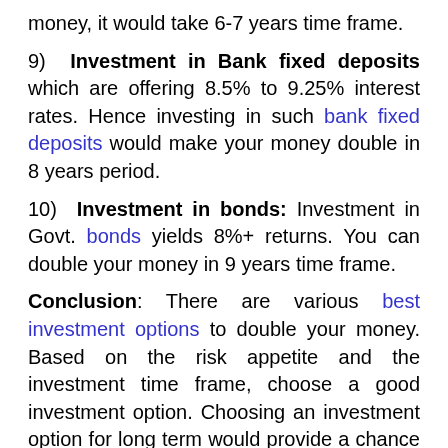money, it would take 6-7 years time frame.
9) Investment in Bank fixed deposits which are offering 8.5% to 9.25% interest rates. Hence investing in such bank fixed deposits would make your money double in 8 years period.
10) Investment in bonds: Investment in Govt. bonds yields 8%+ returns. You can double your money in 9 years time frame.
Conclusion: There are various best investment options to double your money. Based on the risk appetite and the investment time frame, choose a good investment option. Choosing an investment option for long term would provide a chance to double your money faster. However investment in mutual funds and stocks are risky and past performance may or may not